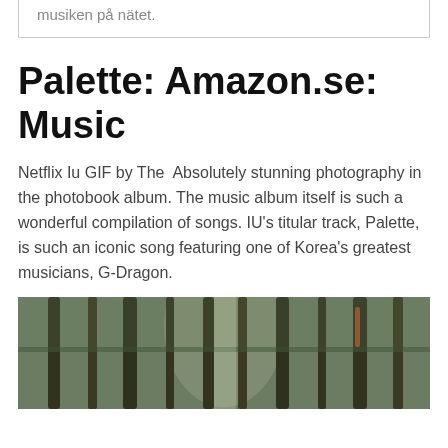musiken på nätet.
Palette: Amazon.se: Music
Netflix Iu GIF by The  Absolutely stunning photography in the photobook album. The music album itself is such a wonderful compilation of songs. IU's titular track, Palette, is such an iconic song featuring one of Korea's greatest musicians, G-Dragon.
[Figure (photo): Forest scene with tall conifer trees, dark trunks, greenery, and light filtering through the trees.]